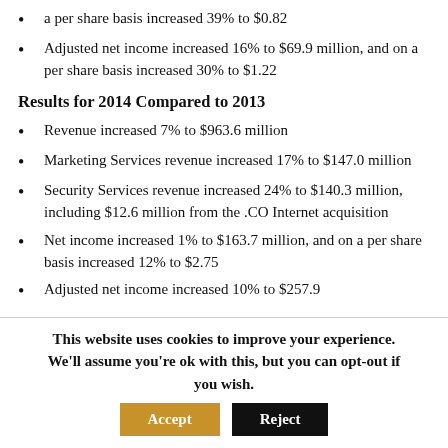a per share basis increased 39% to $0.82
Adjusted net income increased 16% to $69.9 million, and on a per share basis increased 30% to $1.22
Results for 2014 Compared to 2013
Revenue increased 7% to $963.6 million
Marketing Services revenue increased 17% to $147.0 million
Security Services revenue increased 24% to $140.3 million, including $12.6 million from the .CO Internet acquisition
Net income increased 1% to $163.7 million, and on a per share basis increased 12% to $2.75
Adjusted net income increased 10% to $257.9
This website uses cookies to improve your experience. We'll assume you're ok with this, but you can opt-out if you wish. [Accept] [Reject]